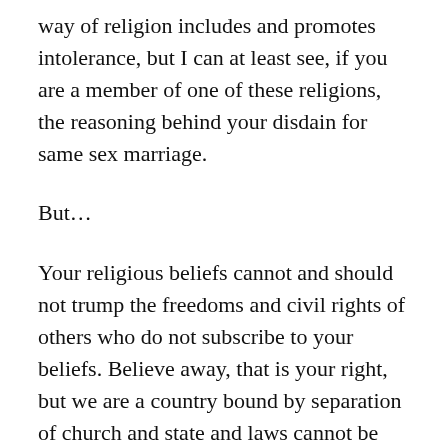way of religion includes and promotes intolerance, but I can at least see, if you are a member of one of these religions, the reasoning behind your disdain for same sex marriage.
But...
Your religious beliefs cannot and should not trump the freedoms and civil rights of others who do not subscribe to your beliefs. Believe away, that is your right, but we are a country bound by separation of church and state and laws cannot be mandated based on the religious beliefs of any one group. Impose those beliefs on people who choose to join your religion but it